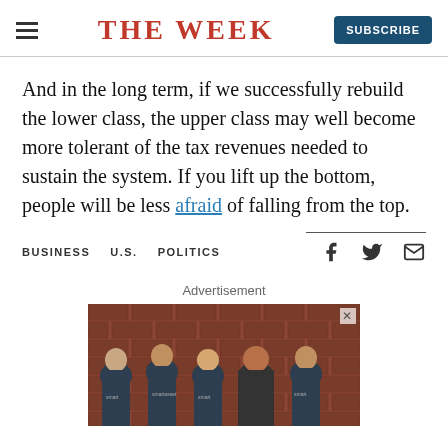THE WEEK
And in the long term, if we successfully rebuild the lower class, the upper class may well become more tolerant of the tax revenues needed to sustain the system. If you lift up the bottom, people will be less afraid of falling from the top.
BUSINESS   U.S.   POLITICS
[Figure (photo): Advertisement showing five people wearing matching dark t-shirts with 'smart' branding, standing in front of a brick wall.]
Advertisement